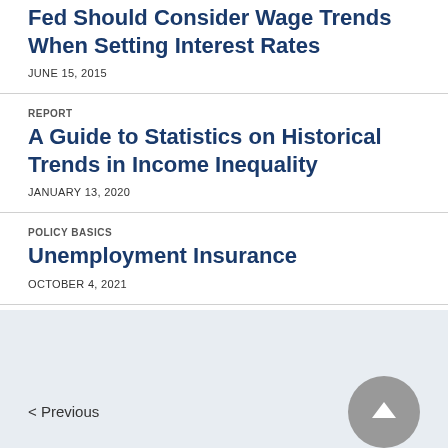Fed Should Consider Wage Trends When Setting Interest Rates
JUNE 15, 2015
REPORT
A Guide to Statistics on Historical Trends in Income Inequality
JANUARY 13, 2020
POLICY BASICS
Unemployment Insurance
OCTOBER 4, 2021
< Previous